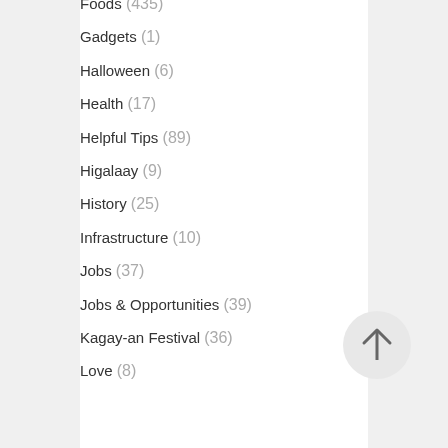Foods (435)
Gadgets (1)
Halloween (6)
Health (17)
Helpful Tips (89)
Higalaay (9)
History (25)
Infrastructure (10)
Jobs (37)
Jobs & Opportunities (39)
Kagay-an Festival (36)
Love (8)